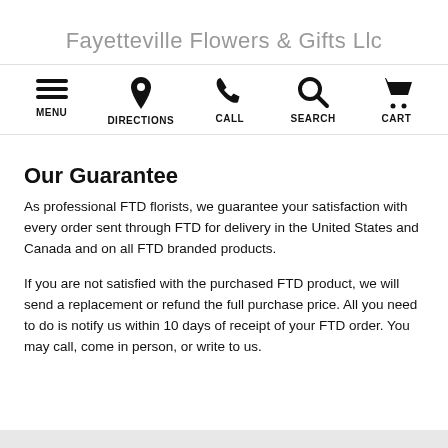Fayetteville Flowers & Gifts Llc
[Figure (infographic): Navigation bar with five icons and labels: MENU (hamburger), DIRECTIONS (map pin), CALL (phone), SEARCH (magnifying glass), CART (shopping cart)]
Our Guarantee
As professional FTD florists, we guarantee your satisfaction with every order sent through FTD for delivery in the United States and Canada and on all FTD branded products.
If you are not satisfied with the purchased FTD product, we will send a replacement or refund the full purchase price. All you need to do is notify us within 10 days of receipt of your FTD order. You may call, come in person, or write to us.